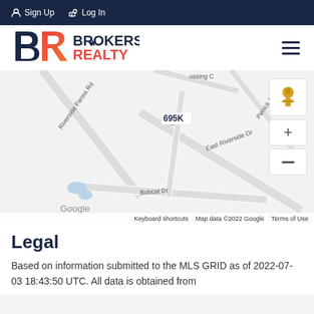Sign Up  Log In
[Figure (logo): Brokers Realty logo with BR letters and star icon]
[Figure (map): Google map showing property location at 695K near East Riverside Dr, Riverside Farms Rd, Bobcat Dr, Penick Dr in Austin area. Map data ©2022 Google.]
Legal
Based on information submitted to the MLS GRID as of 2022-07-03 18:43:50 UTC. All data is obtained from